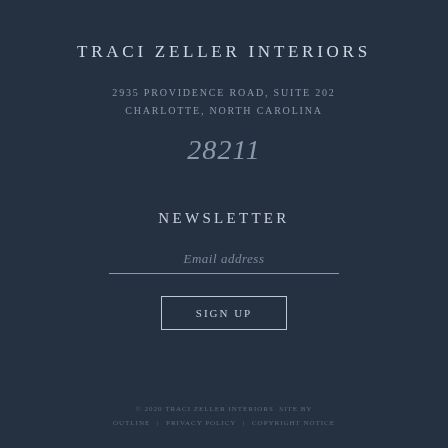TRACI ZELLER INTERIORS
2935 PROVIDENCE ROAD, SUITE 202
CHARLOTTE, NORTH CAROLINA
28211
NEWSLETTER
Email address
SIGN UP
© 2020 TRACI ZELLER INTERIORS  SITE BY OUTLINE | PRIVACY POLICY | COPYRIGHT NOTICE